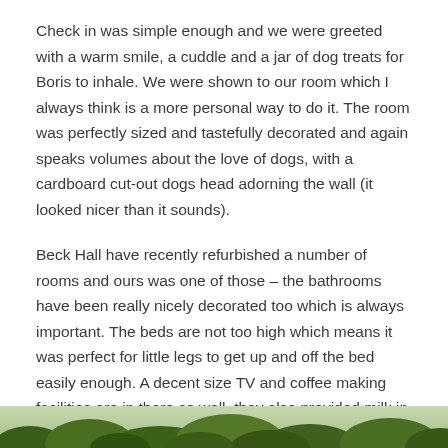Check in was simple enough and we were greeted with a warm smile, a cuddle and a jar of dog treats for Boris to inhale. We were shown to our room which I always think is a more personal way to do it. The room was perfectly sized and tastefully decorated and again speaks volumes about the love of dogs, with a cardboard cut-out dogs head adorning the wall (it looked nicer than it sounds).
Beck Hall have recently refurbished a number of rooms and ours was one of those – the bathrooms have been really nicely decorated too which is always important. The beds are not too high which means it was perfect for little legs to get up and off the bed easily enough. A decent size TV and coffee making facilities are in there as well, they also provided milk in a small flask (dairy free on request) too to finish off your brew perfectly.
[Figure (photo): Bottom strip of an outdoor nature/garden photograph showing green foliage and plants]